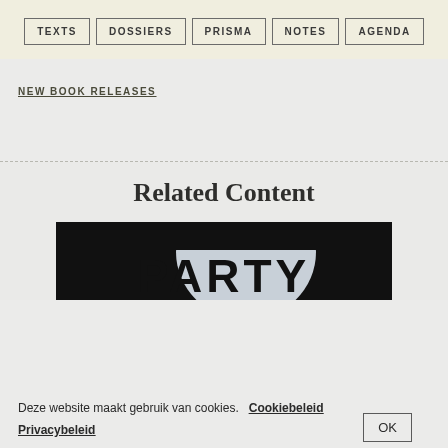TEXTS | DOSSIERS | PRISMA | NOTES | AGENDA
NEW BOOK RELEASES
Related Content
[Figure (photo): Partial image showing the word PARTY on a dark background with a circular element]
Deze website maakt gebruik van cookies. Cookiebeleid Privacybeleid